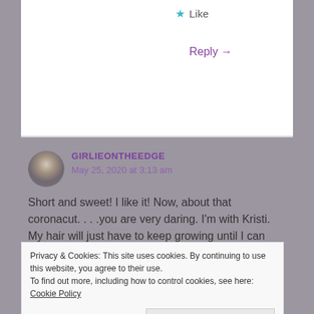★ Like
Reply →
GIRLIEONTHEEDGE
May 25, 2020 at 3:13 am
Short and sweet! I like it! Now, about that coronacut. . . .you are very daring. I'm with Kristi. My hair will just have to keep growing until I can see my stylist 😀
Privacy & Cookies: This site uses cookies. By continuing to use this website, you agree to their use.
To find out more, including how to control cookies, see here: Cookie Policy
Close and accept